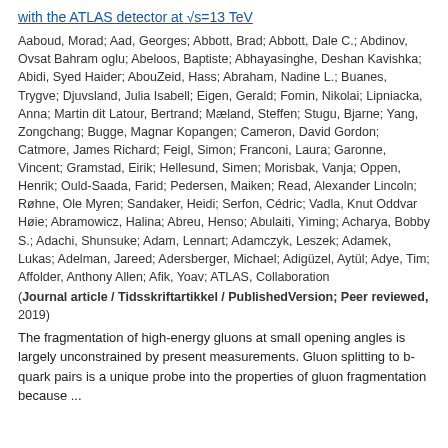with the ATLAS detector at √s=13 TeV
Aaboud, Morad; Aad, Georges; Abbott, Brad; Abbott, Dale C.; Abdinov, Ovsat Bahram oglu; Abeloos, Baptiste; Abhayasinghe, Deshan Kavishka; Abidi, Syed Haider; AbouZeid, Hass; Abraham, Nadine L.; Buanes, Trygve; Djuvsland, Julia Isabell; Eigen, Gerald; Fomin, Nikolai; Lipniacka, Anna; Martin dit Latour, Bertrand; Mæland, Steffen; Stugu, Bjarne; Yang, Zongchang; Bugge, Magnar Kopangen; Cameron, David Gordon; Catmore, James Richard; Feigl, Simon; Franconi, Laura; Garonne, Vincent; Gramstad, Eirik; Hellesund, Simen; Morisbak, Vanja; Oppen, Henrik; Ould-Saada, Farid; Pedersen, Maiken; Read, Alexander Lincoln; Røhne, Ole Myren; Sandaker, Heidi; Serfon, Cédric; Vadla, Knut Oddvar Høie; Abramowicz, Halina; Abreu, Henso; Abulaiti, Yiming; Acharya, Bobby S.; Adachi, Shunsuke; Adam, Lennart; Adamczyk, Leszek; Adamek, Lukas; Adelman, Jareed; Adersberger, Michael; Adigüzel, Aytül; Adye, Tim; Affolder, Anthony Allen; Afik, Yoav; ATLAS, Collaboration
(Journal article / Tidsskriftartikkel / PublishedVersion; Peer reviewed, 2019)
The fragmentation of high-energy gluons at small opening angles is largely unconstrained by present measurements. Gluon splitting to b-quark pairs is a unique probe into the properties of gluon fragmentation because ...